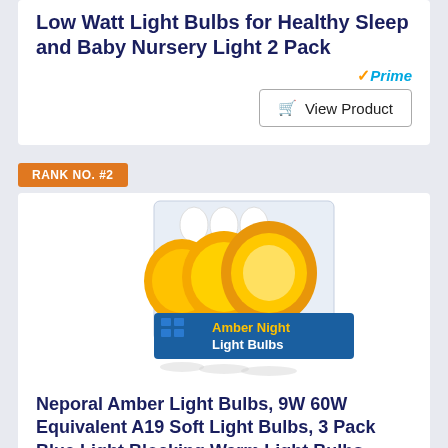Low Watt Light Bulbs for Healthy Sleep and Baby Nursery Light 2 Pack
[Figure (other): Amazon Prime badge with orange checkmark and blue Prime text]
[Figure (other): View Product button with shopping cart icon]
RANK NO. #2
[Figure (photo): Three amber/orange LED light bulbs (Neporal brand) with a blue label reading Amber Night Light Bulbs, shown against product packaging]
Neporal Amber Light Bulbs, 9W 60W Equivalent A19 Soft Light Bulbs, 3 Pack Blue Light Blocking Warm Light Bulbs, 1800K Amber Night Light Bulbs, Blue Light Bulb for...